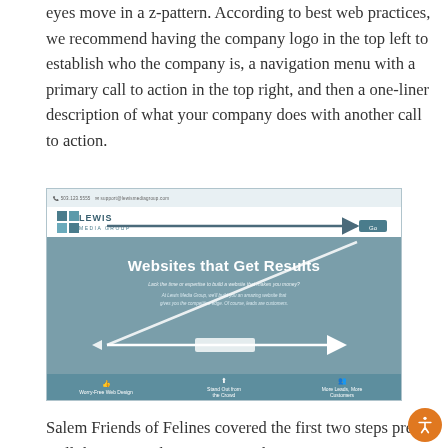eyes move in a z-pattern. According to best web practices, we recommend having the company logo in the top left to establish who the company is, a navigation menu with a primary call to action in the top right, and then a one-liner description of what your company does with another call to action.
[Figure (screenshot): Screenshot of the Lewis Media Group website homepage showing a z-pattern overlay. The page has a header with the Lewis Media Group logo on the left, navigation arrows pointing right to a button top right, then a diagonal line going down-left through the hero section titled 'Websites that Get Results', then a horizontal arrow pointing right at the bottom of the hero area. The footer shows three feature icons: Worry-Free Web Design, Stand Out from the Crowd, More Leads More Customers.]
Salem Friends of Felines covered the first two steps pretty well; however, when you get to the main